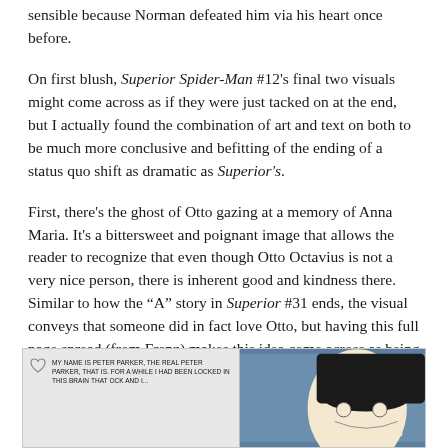sensible because Norman defeated him via his heart once before.
On first blush, Superior Spider-Man #12's final two visuals might come across as if they were just tacked on at the end, but I actually found the combination of art and text on both to be much more conclusive and befitting of the ending of a status quo shift as dramatic as Superior's.
First, there's the ghost of Otto gazing at a memory of Anna Maria. It's a bittersweet and poignant image that allows the reader to recognize that even though Otto Octavius is not a very nice person, there is inherent good and kindness there. Similar to how the "A" story in Superior #31 ends, the visual conveys that someone did in fact love Otto, but having this full page spread (from Frenz) makes this idea come across as being more sentimental and thoughtful when compared to the rushed, ASM #50 homage we got from Giuseppe Camuncoli last week.
[Figure (illustration): Comic book panel showing text on left with 'MY NAME IS PETER PARKER, THE REAL PETER PARKER, THAT IS. FOR A WHILE I HAD BEEN LOCKED IN THIS BRAIN THAT OCK AND I...' and a heart symbol, alongside a character with dark hair on the right against a blue background.]